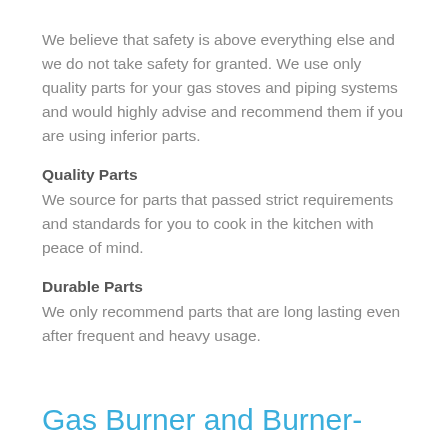We believe that safety is above everything else and we do not take safety for granted. We use only quality parts for your gas stoves and piping systems and would highly advise and recommend them if you are using inferior parts.
Quality Parts
We source for parts that passed strict requirements and standards for you to cook in the kitchen with peace of mind.
Durable Parts
We only recommend parts that are long lasting even after frequent and heavy usage.
Gas Burner and Burner-